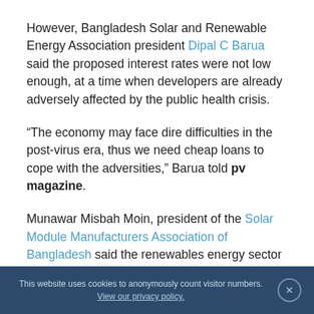However, Bangladesh Solar and Renewable Energy Association president Dipal C Barua said the proposed interest rates were not low enough, at a time when developers are already adversely affected by the public health crisis.
“The economy may face dire difficulties in the post-virus era, thus we need cheap loans to cope with the adversities,” Barua told pv magazine.
Munawar Misbah Moin, president of the Solar Module Manufacturers Association of Bangladesh said the renewables energy sector in the country was really feeling the heat. “Every productive support from the
This website uses cookies to anonymously count visitor numbers. View our privacy policy.